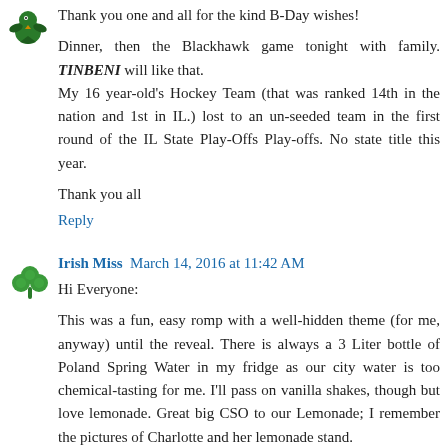[Figure (illustration): Green avatar icon (bird/eagle) for the first commenter]
Thank you one and all for the kind B-Day wishes!

Dinner, then the Blackhawk game tonight with family. TINBENI will like that.
My 16 year-old's Hockey Team (that was ranked 14th in the nation and 1st in IL.) lost to an un-seeded team in the first round of the IL State Play-Offs Play-offs. No state title this year.

Thank you all
Reply
[Figure (illustration): Green shamrock/clover avatar icon for Irish Miss commenter]
Irish Miss  March 14, 2016 at 11:42 AM
Hi Everyone:

This was a fun, easy romp with a well-hidden theme (for me, anyway) until the reveal. There is always a 3 Liter bottle of Poland Spring Water in my fridge as our city water is too chemical-tasting for me. I'll pass on vanilla shakes, though but love lemonade. Great big CSO to our Lemonade; I remember the pictures of Charlotte and her lemonade stand.